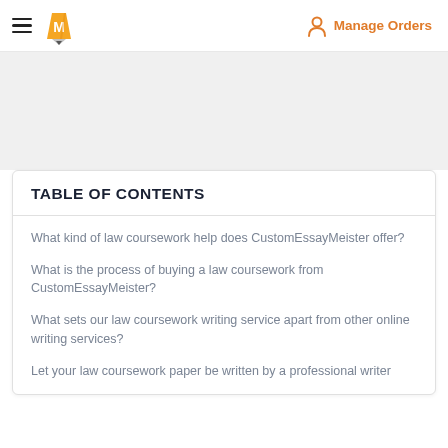Manage Orders
TABLE OF CONTENTS
What kind of law coursework help does CustomEssayMeister offer?
What is the process of buying a law coursework from CustomEssayMeister?
What sets our law coursework writing service apart from other online writing services?
Let your law coursework paper be written by a professional writer